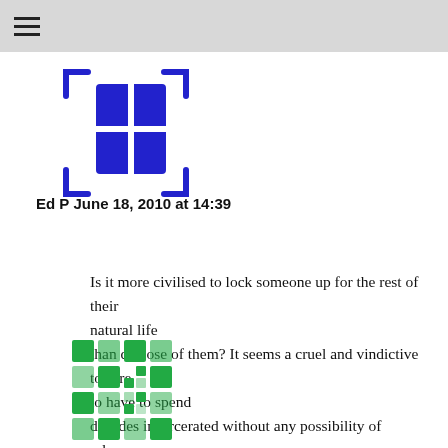☰
[Figure (logo): Blue pixelated/mosaic grid avatar icon with dashed bracket corners]
Ed P June 18, 2010 at 14:39
Is it more civilised to lock someone up for the rest of their natural life than dispose of them? It seems a cruel and vindictive torture to have to spend decades incarcerated without any possibility of release. Were I found guilty (of a crime with such a penalty), I believe I might opt for death rather than years of confinement.
[Figure (logo): Green pixelated/mosaic grid avatar icon]